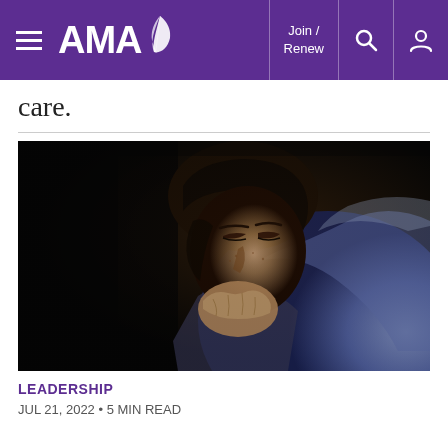AMA — Join / Renew
care.
[Figure (photo): Close-up photo of a young woman with dark hair pulled back, eyes closed or downcast, holding her hands clasped near her mouth/face, wearing a blue denim shirt, dramatic dark lighting]
LEADERSHIP
JUL 21, 2022 • 5 MIN READ